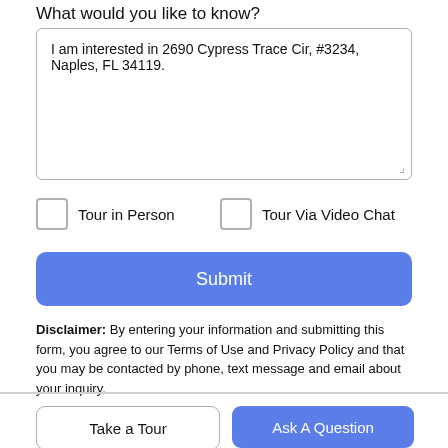What would you like to know?
I am interested in 2690 Cypress Trace Cir, #3234, Naples, FL 34119.
Tour in Person
Tour Via Video Chat
Submit
Disclaimer: By entering your information and submitting this form, you agree to our Terms of Use and Privacy Policy and that you may be contacted by phone, text message and email about your inquiry.
Take a Tour
Ask A Question